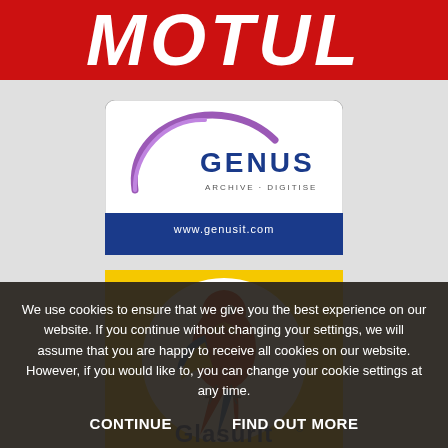[Figure (logo): MOTUL brand logo — bold white italic text on red background]
[Figure (logo): Genus Archive + Digitise logo with purple swoosh and blue text on white background, www.genusit.com]
[Figure (logo): Glasurit logo — red macaw parrot on white circle on yellow background with Glasurit brand name]
We use cookies to ensure that we give you the best experience on our website. If you continue without changing your settings, we will assume that you are happy to receive all cookies on our website. However, if you would like to, you can change your cookie settings at any time.
CONTINUE
FIND OUT MORE